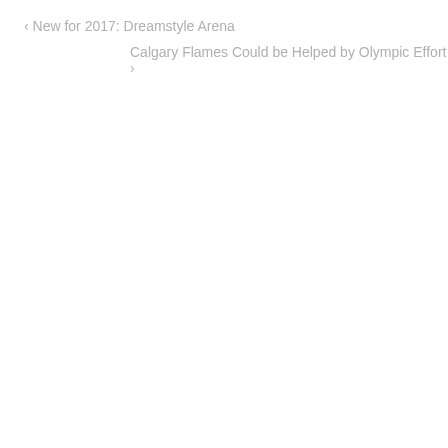‹ New for 2017: Dreamstyle Arena
Calgary Flames Could be Helped by Olympic Effort ›